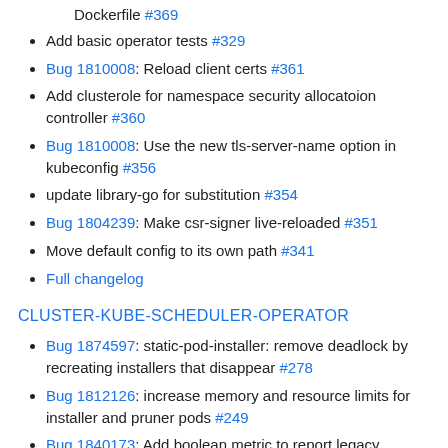Dockerfile #369
Add basic operator tests #329
Bug 1810008: Reload client certs #361
Add clusterole for namespace security allocatoion controller #360
Bug 1810008: Use the new tls-server-name option in kubeconfig #356
update library-go for substitution #354
Bug 1804239: Make csr-signer live-reloaded #351
Move default config to its own path #341
Full changelog
CLUSTER-KUBE-SCHEDULER-OPERATOR
Bug 1874597: static-pod-installer: remove deadlock by recreating installers that disappear #278
Bug 1812126: increase memory and resource limits for installer and pruner pods #249
Bug 1840173: Add boolean metric to report legacy